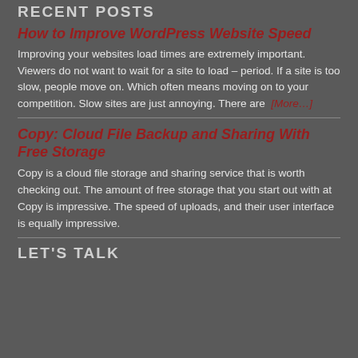RECENT POSTS
How to Improve WordPress Website Speed
Improving your websites load times are extremely important. Viewers do not want to wait for a site to load – period. If a site is too slow, people move on. Which often means moving on to your competition. Slow sites are just annoying. There are [More...]
Copy: Cloud File Backup and Sharing With Free Storage
Copy is a cloud file storage and sharing service that is worth checking out. The amount of free storage that you start out with at Copy is impressive. The speed of uploads, and their user interface is equally impressive.
LET'S TALK